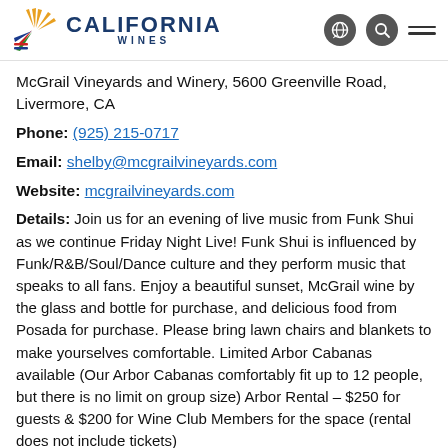CALIFORNIA WINES
McGrail Vineyards and Winery, 5600 Greenville Road, Livermore, CA
Phone: (925) 215-0717
Email: shelby@mcgrailvineyards.com
Website: mcgrailvineyards.com
Details: Join us for an evening of live music from Funk Shui as we continue Friday Night Live! Funk Shui is influenced by Funk/R&B/Soul/Dance culture and they perform music that speaks to all fans. Enjoy a beautiful sunset, McGrail wine by the glass and bottle for purchase, and delicious food from Posada for purchase. Please bring lawn chairs and blankets to make yourselves comfortable. Limited Arbor Cabanas available (Our Arbor Cabanas comfortably fit up to 12 people, but there is no limit on group size) Arbor Rental – $250 for guests & $200 for Wine Club Members for the space (rental does not include tickets)